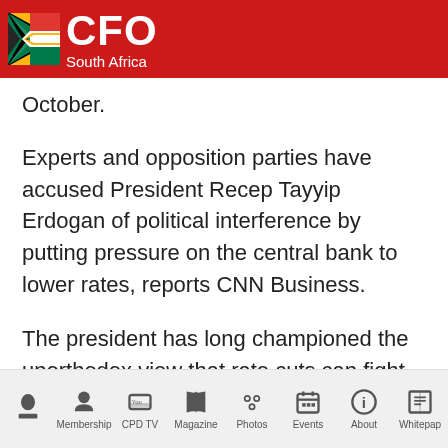CFO South Africa
October.
Experts and opposition parties have accused President Recep Tayyip Erdogan of political interference by putting pressure on the central bank to lower rates, reports CNN Business.
The president has long championed the unorthodox view that rate cuts can fight rising inflation.
Global fertiliser shortage
A global shortage of nitrogen fertiliser is driving prices
Membership | CPD TV | Magazine | Photos | Events | About | Whitepap...